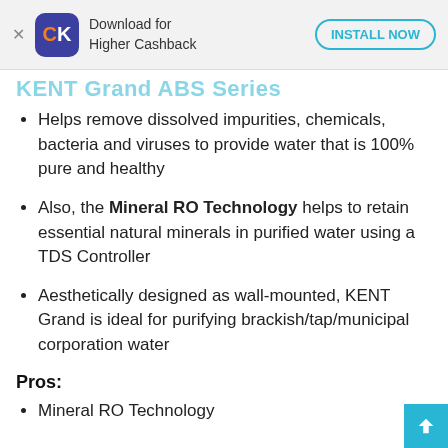[Figure (screenshot): App download banner with CK logo, 'Download for Higher Cashback' text, and 'INSTALL NOW' button]
KENT Grand ABS Series
Helps remove dissolved impurities, chemicals, bacteria and viruses to provide water that is 100% pure and healthy
Also, the Mineral RO Technology helps to retain essential natural minerals in purified water using a TDS Controller
Aesthetically designed as wall-mounted, KENT Grand is ideal for purifying brackish/tap/municipal corporation water
Pros:
Mineral RO Technology